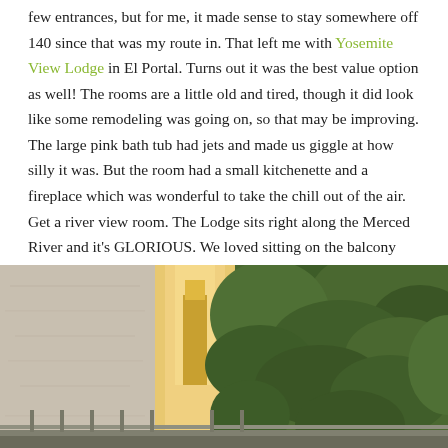few entrances, but for me, it made sense to stay somewhere off 140 since that was my route in. That left me with Yosemite View Lodge in El Portal. Turns out it was the best value option as well! The rooms are a little old and tired, though it did look like some remodeling was going on, so that may be improving. The large pink bath tub had jets and made us giggle at how silly it was. But the room had a small kitchenette and a fireplace which was wonderful to take the chill out of the air. Get a river view room. The Lodge sits right along the Merced River and it's GLORIOUS. We loved sitting on the balcony and listening to the water rush by.
[Figure (photo): Outdoor photo showing a stucco wall on the left side, a lit lamp/pillar in the center, and green trees/foliage on the right, with a railing visible at the bottom — view from a balcony along the Merced River at Yosemite View Lodge.]